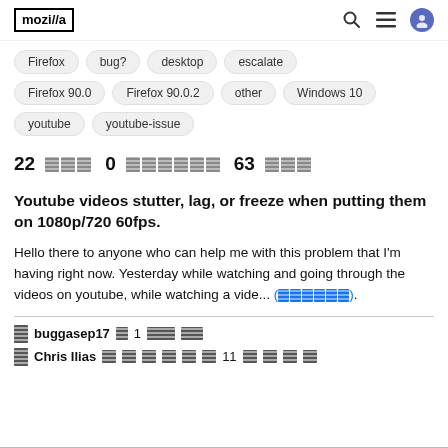mozilla // [header icons]
Firefox  bug?  desktop  escalate
Firefox 90.0  Firefox 90.0.2  other  Windows 10
youtube  youtube-issue
22 [redacted] 0 [redacted] 63 [redacted]
Youtube videos stutter, lag, or freeze when putting them on 1080p/720 60fps.
Hello there to anyone who can help me with this problem that I'm having right now. Yesterday while watching and going through the videos on youtube, while watching a vide... ([redacted link]).
buggasep17 [redacted] 1 [redacted] [redacted]
Chris Ilias [redacted] [redacted] 11 [redacted]